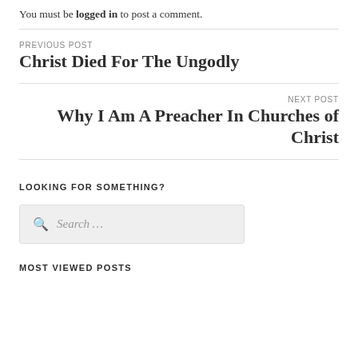You must be logged in to post a comment.
PREVIOUS POST
Christ Died For The Ungodly
NEXT POST
Why I Am A Preacher In Churches of Christ
LOOKING FOR SOMETHING?
Search ...
MOST VIEWED POSTS